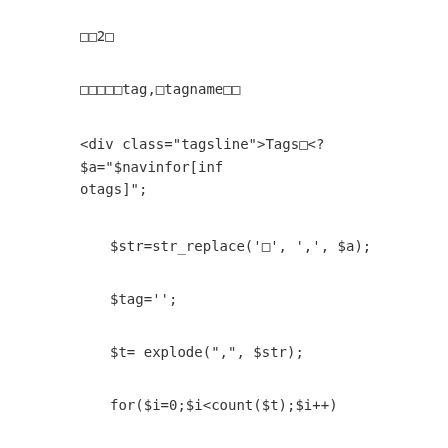□□2□
□□□□□tag,□tagname□□
<div class="tagsline">Tags□<? $a="$navinfor[infotags]";
$str=str_replace('□', ',', $a);
$tag='';
$t= explode(",", $str);
for($i=0;$i<count($t);$i++)
{
if($t[$i])